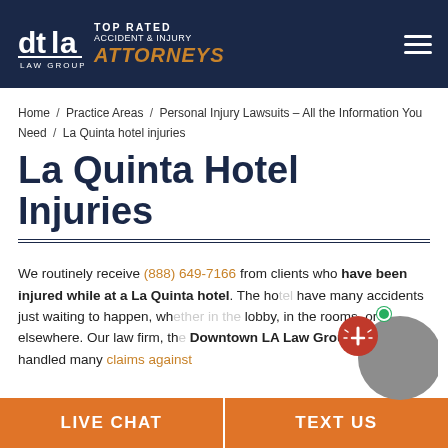DTLA Law Group — TOP RATED ACCIDENT & INJURY ATTORNEYS
Home / Practice Areas / Personal Injury Lawsuits – All the Information You Need / La Quinta hotel injuries
La Quinta Hotel Injuries
We routinely receive (888) 649-7166 from clients who have been injured while at a La Quinta hotel. The ho[tel]... have many accidents just waiting to happen, whe[ther in the] lobby, in the rooms, or elsewhere. Our law firm, th[e] Downtown LA Law Group, had handled many claims against
LIVE CHAT | TEXT US